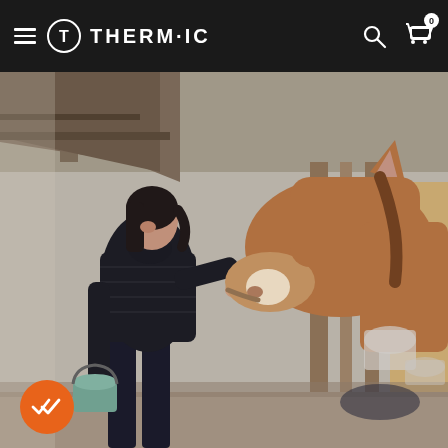THERM-IC navigation bar with hamburger menu, logo, search and cart icons
[Figure (photo): A woman in a black quilted jacket feeding a carrot to a chestnut horse inside a stable. She carries a bucket in her other hand. The horse leans out from its stall. Stable interior with wooden partitions visible in background. An orange circular badge with a double checkmark is shown in the bottom-left corner of the image.]